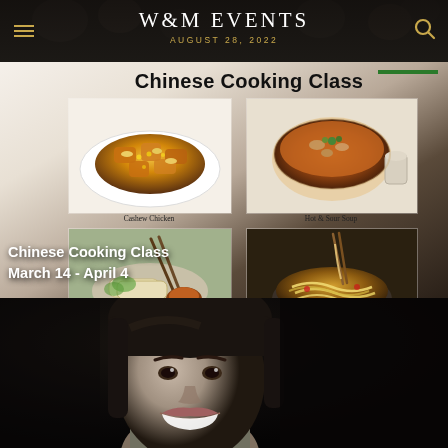W&M EVENTS
AUGUST 28, 2022
[Figure (screenshot): Chinese Cooking Class promotional card showing four Chinese food dish photos: Cashew Chicken (top left), Hot & Sour Soup (top right), Spring Rolls/Wraps with chopsticks (bottom left), Noodles in bowl (bottom right). Text overlay reads 'Chinese Cooking Class March 14 - April 4']
Chinese Cooking Class
Chinese Cooking Class
March 14 - April 4
Cashew Chicken
Hot & Sour Soup
[Figure (photo): Black and white close-up portrait photo of a smiling woman with bangs/fringe hairstyle]